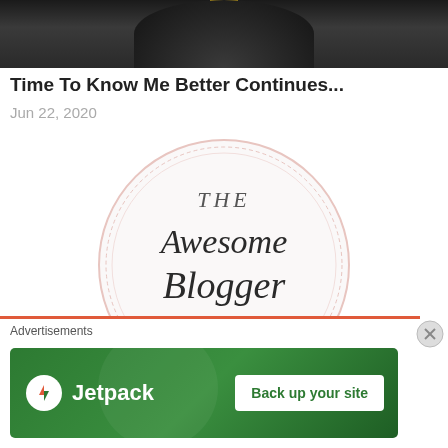[Figure (photo): Top portion of a photo showing a person in dark clothing with a yellow strap/lanyard visible]
Time To Know Me Better Continues...
Jun 22, 2020
[Figure (illustration): The Awesome Blogger Award badge - a circular badge with pink/rose border, cursive script text reading 'The Awesome Blogger Award' on white background]
The Awesome Blogger Award
May 25, 2020
Advertisements
[Figure (other): Jetpack advertisement banner with green background showing Jetpack logo and 'Back up your site' button]